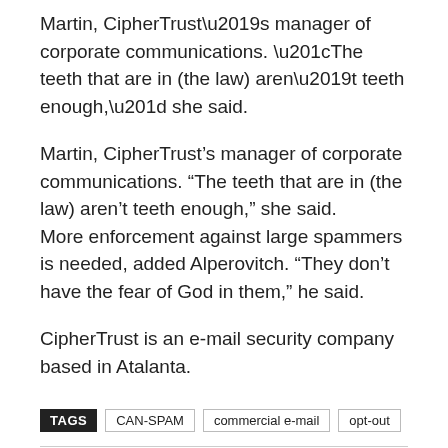Martin, CipherTrust’s manager of corporate communications. “The teeth that are in (the law) aren’t teeth enough,” she said.
More enforcement against large spammers is needed, added Alperovitch. “They don’t have the fear of God in them,” he said.
CipherTrust is an e-mail security company based in Atalanta.
TAGS  CAN-SPAM  commercial e-mail  opt-out
Would you recommend this article?